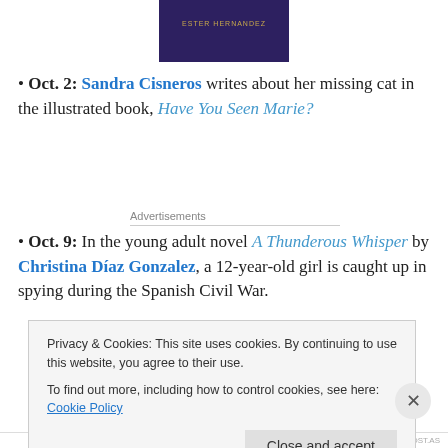[Figure (illustration): Book cover with dark purple/navy background and gold author name 'ESTER HERNANDEZ']
Oct. 2: Sandra Cisneros writes about her missing cat in the illustrated book, Have You Seen Marie?
Advertisements
Oct. 9: In the young adult novel A Thunderous Whisper by Christina Díaz Gonzalez, a 12-year-old girl is caught up in spying during the Spanish Civil War.
Privacy & Cookies: This site uses cookies. By continuing to use this website, you agree to their use.
To find out more, including how to control cookies, see here: Cookie Policy